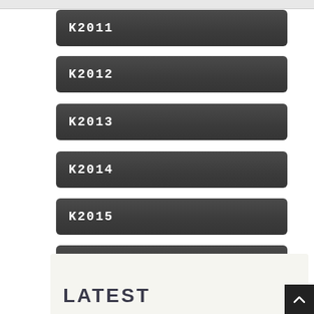K2011
K2012
K2013
K2014
K2015
K2016
LATEST